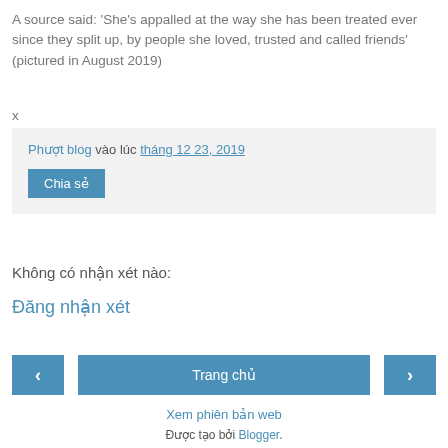A source said: 'She's appalled at the way she has been treated ever since they split up, by people she loved, trusted and called friends' (pictured in August 2019)
x
Phượt blog vào lúc tháng 12 23, 2019
Chia sẻ
Không có nhận xét nào:
Đăng nhận xét
‹  Trang chủ  ›
Xem phiên bản web
Được tạo bởi Blogger.